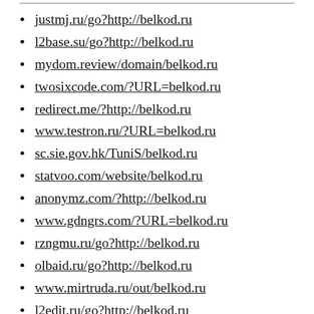justmj.ru/go?http://belkod.ru
l2base.su/go?http://belkod.ru
mydom.review/domain/belkod.ru
twosixcode.com/?URL=belkod.ru
redirect.me/?http://belkod.ru
www.testron.ru/?URL=belkod.ru
sc.sie.gov.hk/TuniS/belkod.ru
statvoo.com/website/belkod.ru
anonymz.com/?http://belkod.ru
www.gdngrs.com/?URL=belkod.ru
rzngmu.ru/go?http://belkod.ru
olbaid.ru/go?http://belkod.ru
www.mirtruda.ru/out/belkod.ru
l2edit.ru/go?http://belkod.ru
2olega.ru/go?http://belkod.ru
www.gta.ru/redirect/belkod.ru
www.spb-vuz.ru/rd?u=belkod.ru
litset.ru/go?http://belkod.ru
прос.ru/sites/?url=belkod.ru